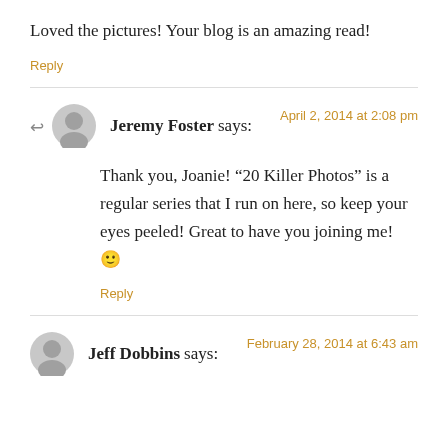Loved the pictures! Your blog is an amazing read!
Reply
Jeremy Foster says:  April 2, 2014 at 2:08 pm
Thank you, Joanie! “20 Killer Photos” is a regular series that I run on here, so keep your eyes peeled! Great to have you joining me! 🙂
Reply
Jeff Dobbins says:  February 28, 2014 at 6:43 am